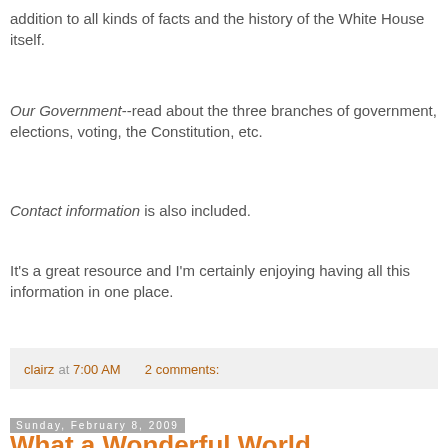addition to all kinds of facts and the history of the White House itself.
Our Government--read about the three branches of government, elections, voting, the Constitution, etc.
Contact information is also included.
It's a great resource and I'm certainly enjoying having all this information in one place.
clairz at 7:00 AM    2 comments:
Sunday, February 8, 2009
What a Wonderful World